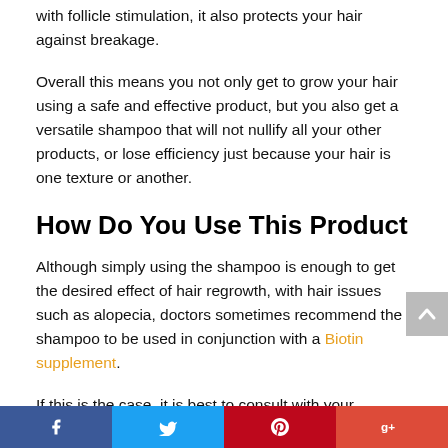with follicle stimulation, it also protects your hair against breakage.
Overall this means you not only get to grow your hair using a safe and effective product, but you also get a versatile shampoo that will not nullify all your other products, or lose efficiency just because your hair is one texture or another.
How Do You Use This Product
Although simply using the shampoo is enough to get the desired effect of hair regrowth, with hair issues such as alopecia, doctors sometimes recommend the shampoo to be used in conjunction with a Biotin supplement.
If this is the case, it is best to consult with your physician to